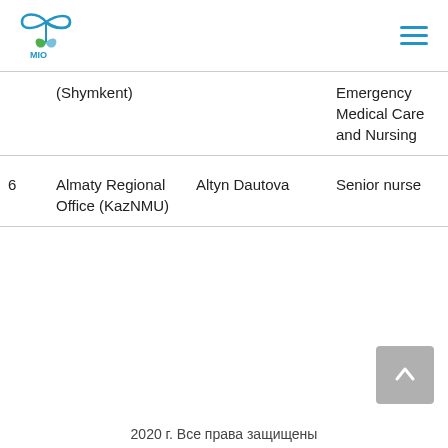MIO logo and hamburger menu
| # | Organization | Name | Role |
| --- | --- | --- | --- |
|  | (Shymkent) |  | Emergency Medical Care and Nursing |
| 6 | Almaty Regional Office (KazNMU) | Altyn Dautova | Senior nurse |
2020 г. Все права защищены